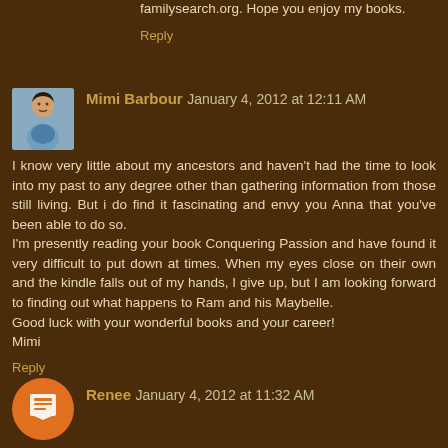familysearch.org. Hope you enjoy my books.
Reply
Mimi Barbour  January 4, 2012 at 12:11 AM
I know very little about my ancestors and haven't had the time to look into my past to any degree other than gathering information from those still living. But i do find it fascinating and envy you Anna that you've been able to do so.
I'm presently reading your book Conquering Passion and have found it very difficult to put down at times. When my eyes close on their own and the kindle falls out of my hands, I give up, but I am looking forward to finding out what happens to Ram and his Maybelle.
Good luck with your wonderful books and your career!
Mimi
Reply
Renee  January 4, 2012 at 11:32 AM